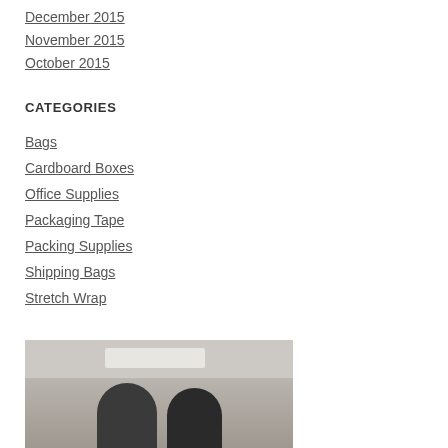December 2015
November 2015
October 2015
CATEGORIES
Bags
Cardboard Boxes
Office Supplies
Packaging Tape
Packing Supplies
Shipping Bags
Stretch Wrap
[Figure (photo): Two people in an office setting, viewed from above a ceiling with fluorescent lighting]